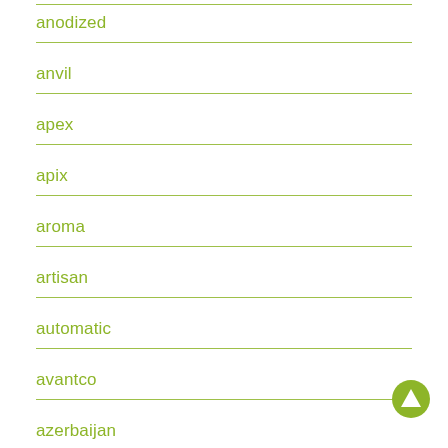anodized
anvil
apex
apix
aroma
artisan
automatic
avantco
azerbaijan